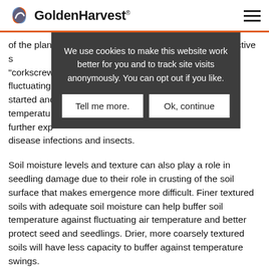GoldenHarvest
of the plant. Curved mesocotyl and coleoptile (the protective s... "corkscrew" ... fluctuating ... started and ... temperatures ... further exp... disease infections and insects.
We use cookies to make this website work better for you and to track site visits anonymously. You can opt out if you like.
Tell me more.   Ok, continue
Soil moisture levels and texture can also play a role in seedling damage due to their role in crusting of the soil surface that makes emergence more difficult. Finer textured soils with adequate soil moisture can help buffer soil temperature against fluctuating air temperature and better protect seed and seedlings. Drier, more coarsely textured soils will have less capacity to buffer against temperature swings.